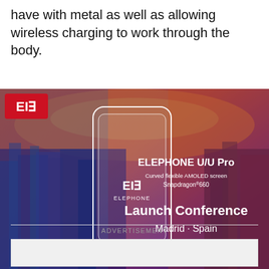have with metal as well as allowing wireless charging to work through the body.
[Figure (photo): Elephone U/U Pro Launch Conference advertisement image showing a smartphone outline against a cityscape (Madrid, Spain) with warm sunset colors. Text reads: ELEPHONE U/U Pro, Curved flexible AMOLED screen, Snapdragon 660, Launch Conference, Madrid · Spain. Elephone logo appears top-left and on the phone screen.]
ADVERTISEMENT